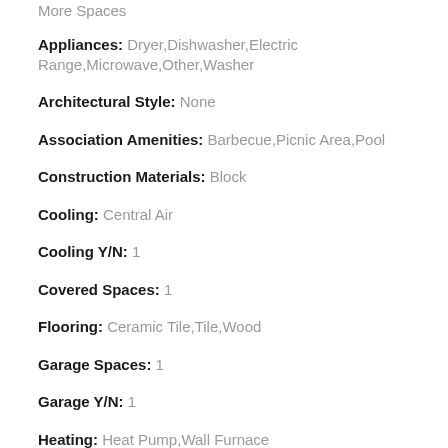More Spaces
Appliances: Dryer,Dishwasher,Electric Range,Microwave,Other,Washer
Architectural Style: None
Association Amenities: Barbecue,Picnic Area,Pool
Construction Materials: Block
Cooling: Central Air
Cooling Y/N: 1
Covered Spaces: 1
Flooring: Ceramic Tile,Tile,Wood
Garage Spaces: 1
Garage Y/N: 1
Heating: Heat Pump,Wall Furnace